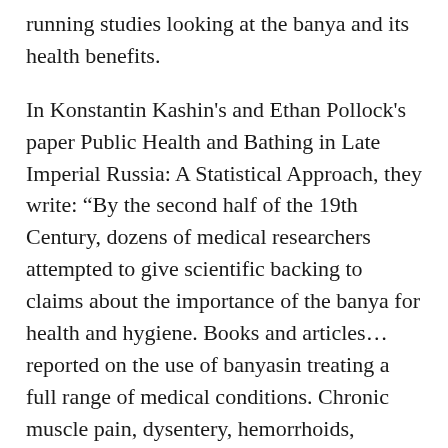running studies looking at the banya and its health benefits.
In Konstantin Kashin's and Ethan Pollock's paper Public Health and Bathing in Late Imperial Russia: A Statistical Approach, they write: “By the second half of the 19th Century, dozens of medical researchers attempted to give scientific backing to claims about the importance of the banya for health and hygiene. Books and articles… reported on the use of banyas in treating a full range of medical conditions. Chronic muscle pain, dysentery, hemorrhoids, influenza, emphysema, obesity, rheumatism, scabies, scrofula, syphilis, typhus and typhoid fever were just a few of the diseases that doctors believed could be treated or prevented by visiting the banya.”
Realistically, however, many of the studies from that era lacked rigour, and it’s not possible to definitively state that banyas can successfully treat such diseases. In fact,